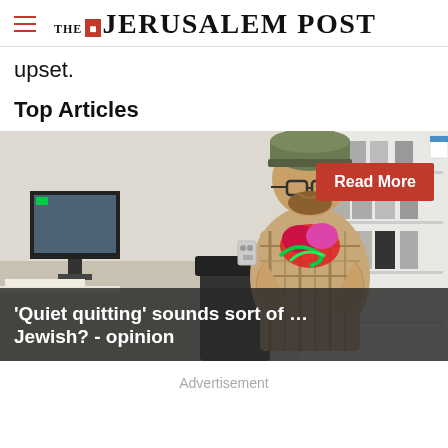THE JERUSALEM POST
upset.
Top Articles
[Figure (photo): A man wearing a beanie hat and glasses sitting in an office, knitting a colorful item. Office furniture and white binders are visible in the background. A red 'Read More' button overlays top right. An article title overlay reads: '‘Quiet quitting’ sounds sort of … Jewish? - opinion']
Advertisement